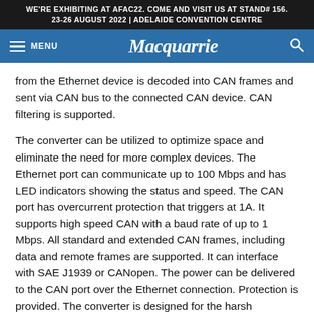WE'RE EXHIBITING AT AFAC22. COME AND VISIT US AT STAND# 156. 23-26 AUGUST 2022 | ADELAIDE CONVENTION CENTRE
[Figure (screenshot): Macquarrie website navigation bar with hamburger menu, italic serif logo 'Macquarrie', and search icon on a blue background]
from the Ethernet device is decoded into CAN frames and sent via CAN bus to the connected CAN device. CAN filtering is supported.
The converter can be utilized to optimize space and eliminate the need for more complex devices. The Ethernet port can communicate up to 100 Mbps and has LED indicators showing the status and speed. The CAN port has overcurrent protection that triggers at 1A. It supports high speed CAN with a baud rate of up to 1 Mbps. All standard and extended CAN frames, including data and remote frames are supported. It can interface with SAE J1939 or CANopen. The power can be delivered to the CAN port over the Ethernet connection. Protection is provided. The converter is designed for the harsh environments of off-highway equipment or industrial equipment.